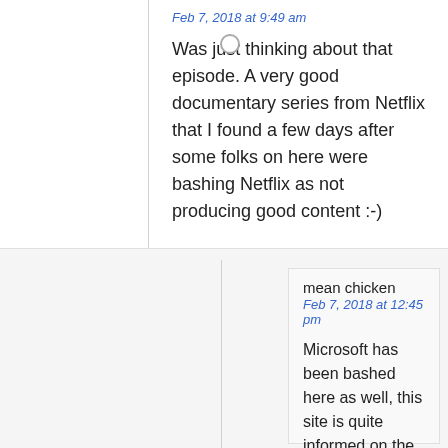Feb 7, 2018 at 9:49 am
Was just thinking about that episode. A very good documentary series from Netflix that I found a few days after some folks on here were bashing Netflix as not producing good content :-)
mean chicken
Feb 7, 2018 at 12:45 pm
Microsoft has been bashed here as well, this site is quite informed on the fine details.
And SNAP is beating the odds today, who’da thunk it?